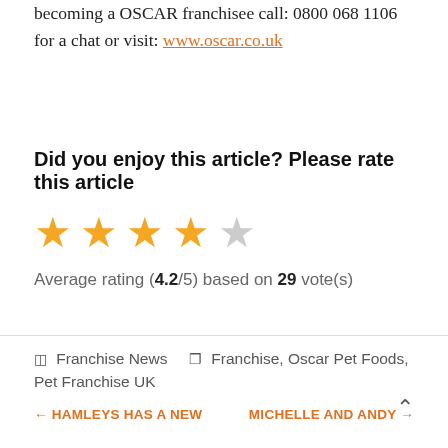becoming a OSCAR franchisee call: 0800 068 1106 for a chat or visit: www.oscar.co.uk
Did you enjoy this article? Please rate this article
[Figure (other): Star rating widget showing 4 filled orange stars and 1 empty grey star]
Average rating (4.2/5) based on 29 vote(s)
Franchise News | Franchise, Oscar Pet Foods, Pet Franchise UK
← HAMLEYS HAS A NEW    MICHELLE AND ANDY →